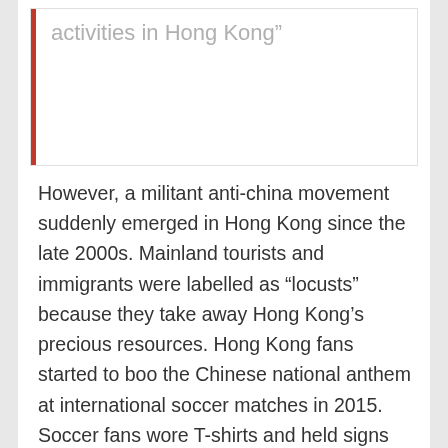activities in Hong Kong”
However, a militant anti-china movement suddenly emerged in Hong Kong since the late 2000s. Mainland tourists and immigrants were labelled as “locusts” because they take away Hong Kong’s precious resources. Hong Kong fans started to boo the Chinese national anthem at international soccer matches in 2015. Soccer fans wore T-shirts and held signs with slogan “Hong Kong is not China”. In 2016, this anti-mainland sentiment and movement further led to the formation of new political organization (e.g., Hong Kong National Party), which declared that political independence of Hong Kong should be